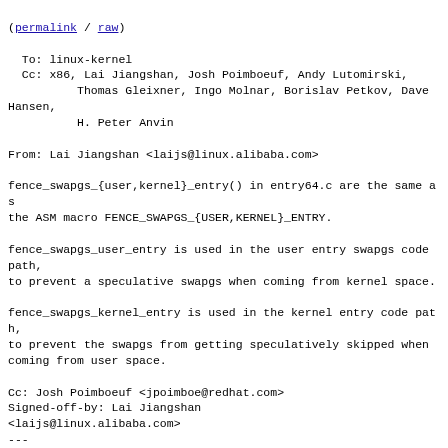(permalink / raw)
  To: linux-kernel
  Cc: x86, Lai Jiangshan, Josh Poimboeuf, Andy Lutomirski,
          Thomas Gleixner, Ingo Molnar, Borislav Petkov, Dave Hansen,
          H. Peter Anvin

From: Lai Jiangshan <laijs@linux.alibaba.com>

fence_swapgs_{user,kernel}_entry() in entry64.c are the same as
the ASM macro FENCE_SWAPGS_{USER,KERNEL}_ENTRY.

fence_swapgs_user_entry is used in the user entry swapgs code path,
to prevent a speculative swapgs when coming from kernel space.

fence_swapgs_kernel_entry is used in the kernel entry code path,
to prevent the swapgs from getting speculatively skipped when
coming from user space.

Cc: Josh Poimboeuf <jpoimboe@redhat.com>
Signed-off-by: Lai Jiangshan
<laijs@linux.alibaba.com>
---
 arch/x86/entry/entry64.c | 21